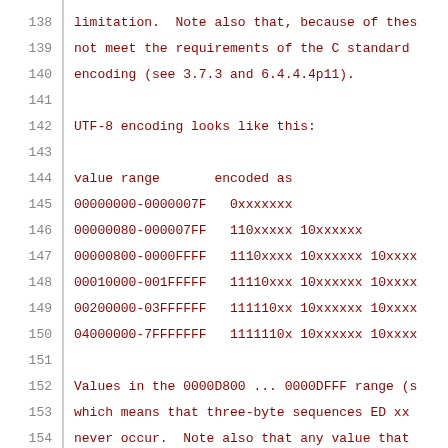138   limitation.  Note also that, because of thes
139   not meet the requirements of the C standard
140   encoding (see 3.7.3 and 6.4.4.4p11).
141
142   UTF-8 encoding looks like this:
143
144   value range       encoded as
145   00000000-0000007F   0xxxxxxx
146   00000080-000007FF   110xxxxx 10xxxxxx
147   00000800-0000FFFF   1110xxxx 10xxxxxx 10xxxx
148   00010000-001FFFFF   11110xxx 10xxxxxx 10xxxx
149   00200000-03FFFFFF   111110xx 10xxxxxx 10xxxx
150   04000000-7FFFFFFF   1111110x 10xxxxxx 10xxxx
151
152   Values in the 0000D800 ... 0000DFFF range (s
153   which means that three-byte sequences ED xx
154   never occur.  Note also that any value that
155   given row of the table can also be encoded b
156   but this is not done; only the shortest poss
157   given value is valid.  For instance, the cha
158   encoded as any of DF 80, E0 9F 80, F0 80 9F
159   F6 80 80 80 9F 80.  Only the first is valid